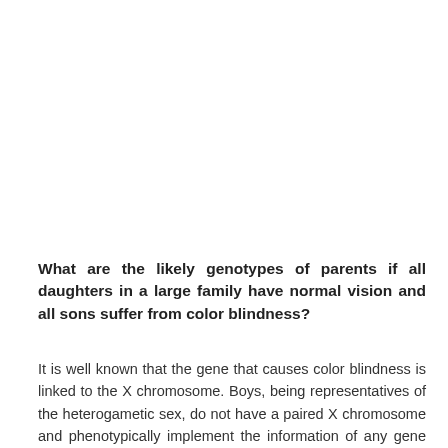What are the likely genotypes of parents if all daughters in a large family have normal vision and all sons suffer from color blindness?
It is well known that the gene that causes color blindness is linked to the X chromosome. Boys, being representatives of the heterogametic sex, do not have a paired X chromosome and phenotypically implement the information of any gene inherited from the mother responsible for color vision from